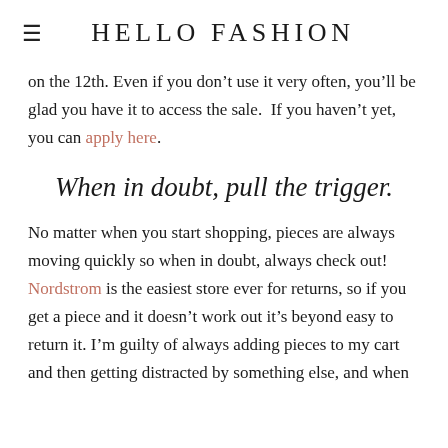HELLO FASHION
on the 12th. Even if you don’t use it very often, you’ll be glad you have it to access the sale. If you haven’t yet, you can apply here.
When in doubt, pull the trigger.
No matter when you start shopping, pieces are always moving quickly so when in doubt, always check out! Nordstrom is the easiest store ever for returns, so if you get a piece and it doesn’t work out it’s beyond easy to return it. I’m guilty of always adding pieces to my cart and then getting distracted by something else, and when